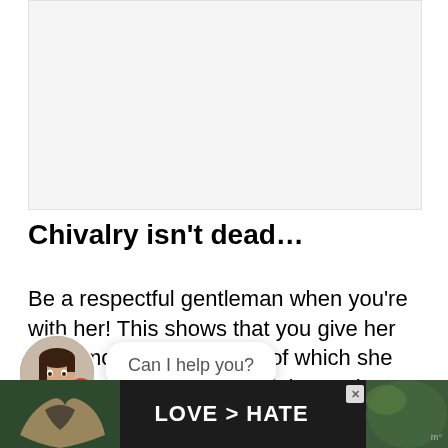[Figure (other): Blank light gray ad placeholder rectangle at top of page]
Chivalry isn't dead…
Be a respectful gentleman when you're with her! This shows that you give her the utmost respect, both of which she truly cherishes. Show the right and right conduct especially when both of you are together, being a
[Figure (screenshot): Chat widget overlay: circular avatar photo of a smiling brunette woman with a red notification badge showing '1', and a white speech bubble saying 'Can I help you?']
[Figure (photo): Bottom ad banner with dark background showing hands forming a heart shape on the left, bold white text 'LOVE > HATE' in center, a close X button, and a meter logo on the right]